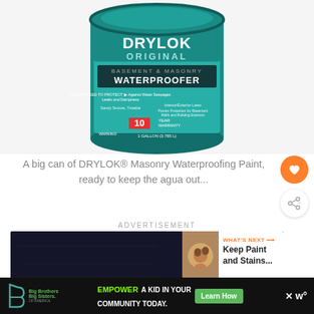[Figure (photo): A large teal/green cylindrical can of DRYLOK ORIGINAL Basement & Masonry Waterproofer, 1 Gallon (3.785 L), showing label with 10-year warranty badge, on a light gray background.]
A big can of DRYLOK® Masonry Waterproofing Paint, ready to keep the agua out...
ADVERTISEMENT
[Figure (screenshot): Advertisement banner with dark background on left side, and a white panel on right showing a thumbnail image and text: WHAT'S NEXT → Keep Paint and Stains...]
[Figure (screenshot): Bottom advertisement bar showing Big Brothers Big Sisters logo, an ad reading EMPOWER A KID IN YOUR COMMUNITY TODAY. with a Learn How green button and a close X button, and a W° logo on the right.]